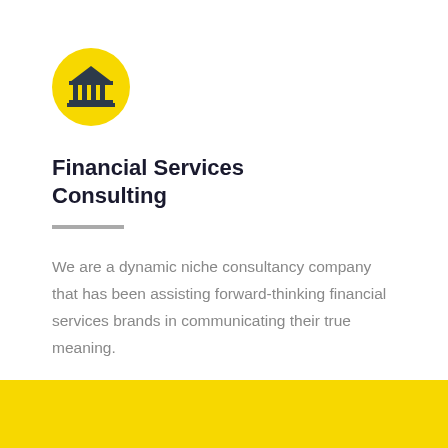[Figure (logo): Yellow circular icon with a dark navy bank/institution building (columns and pediment) symbol in the center]
Financial Services Consulting
We are a dynamic niche consultancy company that has been assisting forward-thinking financial services brands in communicating their true meaning.